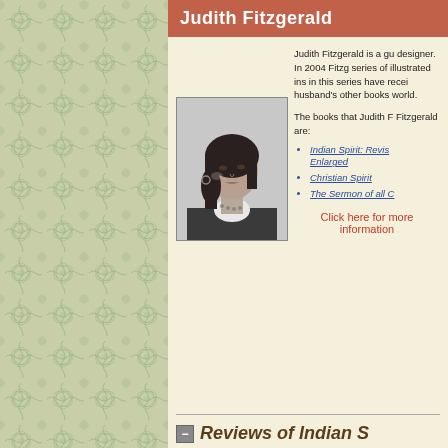Judith Fitzgerald
[Figure (photo): Black and white portrait photo of Judith Fitzgerald, a woman with long dark hair, wearing earrings and necklace]
Judith Fitzgerald is a gu designer. In 2004 Fitzg series of illustrated ins in this series have recei husband's other books world.
The books that Judith F Fitzgerald are:
Indian Spirit: Revis Enlarged
Christian Spirit
The Sermon of all C
Click here for more information
Reviews of Indian Sp